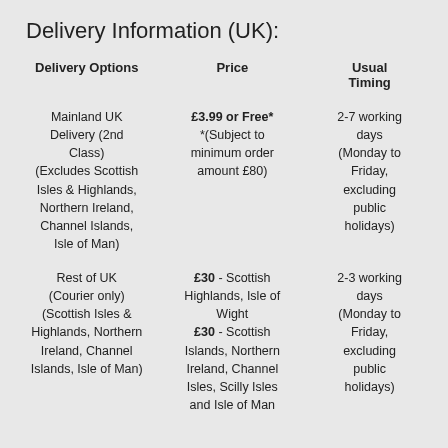Delivery Information (UK):
| Delivery Options | Price | Usual Timing |
| --- | --- | --- |
| Mainland UK Delivery (2nd Class) (Excludes Scottish Isles & Highlands, Northern Ireland, Channel Islands, Isle of Man) | £3.99 or Free* *(Subject to minimum order amount £80) | 2-7 working days (Monday to Friday, excluding public holidays) |
| Rest of UK (Courier only) (Scottish Isles & Highlands, Northern Ireland, Channel Islands, Isle of Man) | £30 - Scottish Highlands, Isle of Wight £30 - Scottish Islands, Northern Ireland, Channel Isles, Scilly Isles and Isle of Man | 2-3 working days (Monday to Friday, excluding public holidays) |